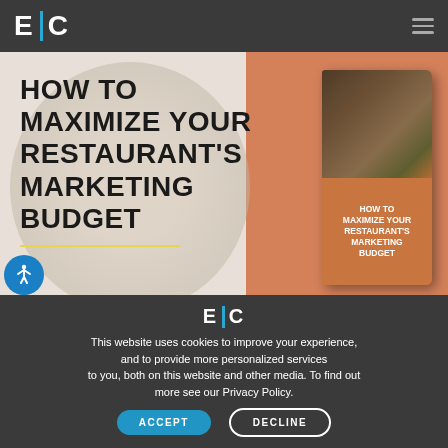E | C
[Figure (illustration): Promotional banner for 'How to Maximize Your Restaurant's Marketing Budget' guide, showing food photography in the background and a book cover on the right side with orange and dark colors.]
HOW TO MAXIMIZE YOUR RESTAURANT'S MARKETING BUDGET
[Figure (logo): E | C logo in white with teal vertical bar, centered in dark gray cookie consent overlay]
This website uses cookies to improve your experience, and to provide more personalized services to you, both on this website and other media. To find out more see our Privacy Policy.
ACCEPT
DECLINE